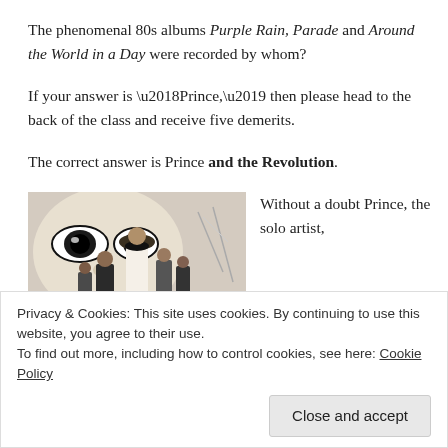The phenomenal 80s albums Purple Rain, Parade and Around the World in a Day were recorded by whom?
If your answer is ‘Prince,’ then please head to the back of the class and receive five demerits.
The correct answer is Prince and the Revolution.
[Figure (photo): Group photo of Prince and the Revolution band members standing in front of a backdrop with a large illustrated face with dramatic eyes.]
Without a doubt Prince, the solo artist,
Privacy & Cookies: This site uses cookies. By continuing to use this website, you agree to their use.
To find out more, including how to control cookies, see here: Cookie Policy
Close and accept